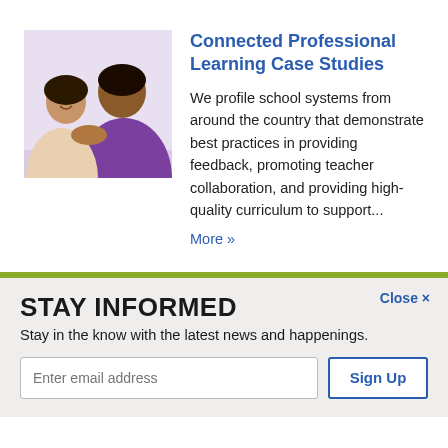[Figure (photo): Two students, one in a purple shirt, working together closely at a desk, smiling]
Connected Professional Learning Case Studies
We profile school systems from around the country that demonstrate best practices in providing feedback, promoting teacher collaboration, and providing high-quality curriculum to support...
More »
STAY INFORMED
Stay in the know with the latest news and happenings.
Close ×